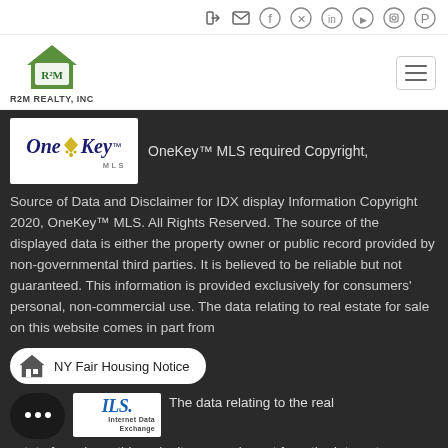[Figure (logo): R2M Realty Inc logo with green house icon and text R2M REALTY, INC]
[Figure (logo): OneKey MLS logo in dark blue on white background]
OneKey™ MLS required Copyright,
Source of Data and Disclaimer for IDX display Information Copyright 2020, OneKey™ MLS. All Rights Reserved. The source of the displayed data is either the property owner or public record provided by non-governmental third parties. It is believed to be reliable but not guaranteed. This information is provided exclusively for consumers' personal, non-commercial use. The data relating to real estate for sale on this website comes in part from
NY Fair Housing Notice
[Figure (logo): IDX Internet Data Exchange logo]
The data relating to the real estate for sale on this web site comes in part from the Internet